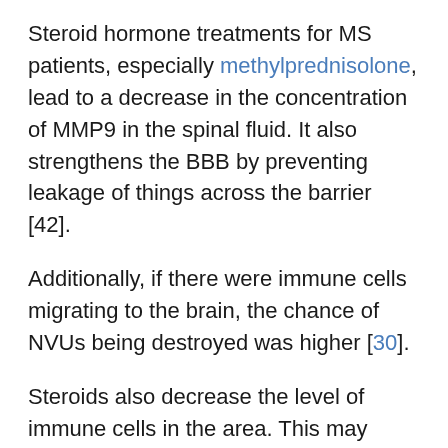Steroid hormone treatments for MS patients, especially methylprednisolone, lead to a decrease in the concentration of MMP9 in the spinal fluid. It also strengthens the BBB by preventing leakage of things across the barrier [42].
Additionally, if there were immune cells migrating to the brain, the chance of NVUs being destroyed was higher [30].
Steroids also decrease the level of immune cells in the area. This may explain the lower concentrations of MMP9 and beneficial effects in MS patients [43].
Albumin also potentially worsens multiple sclerosis symptoms. However, it may also have some protective roles in the disease, but there are currently no human studies available to support this [44].